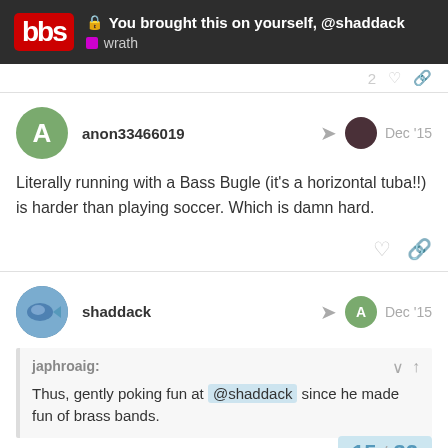You brought this on yourself, @shaddack | wrath
anon33466019 — Dec '15
Literally running with a Bass Bugle (it's a horizontal tuba!!) is harder than playing soccer. Which is damn hard.
shaddack — Dec '15
japhroaig: Thus, gently poking fun at @shaddack since he made fun of brass bands.
If you want to make sounds by blowing air...
15 / 32